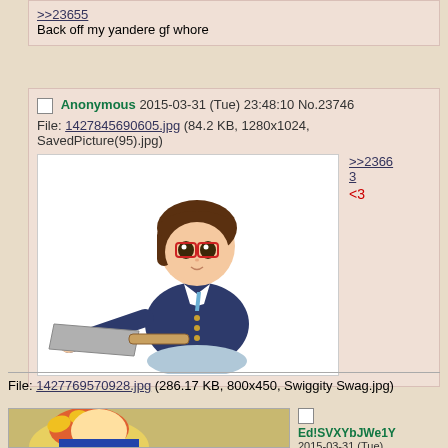>>23655
Back off my yandere gf whore
Anonymous 2015-03-31 (Tue) 23:48:10 No.23746
File: 1427845690605.jpg (84.2 KB, 1280x1024, SavedPicture(95).jpg)
[Figure (illustration): Anime girl with brown hair and red glasses wearing a dark blue school uniform jacket and light blue skirt, holding a large cleaver/machete in her right hand outstretched]
>>23663
<3
File: 1427769570928.jpg (286.17 KB, 800x450, Swiggity Swag.jpg)
[Figure (illustration): Partial view of anime/cartoon character bottom portion visible]
Ed!SVXYbJWe1Y 2015-03-31 (Tue) 23:29:21